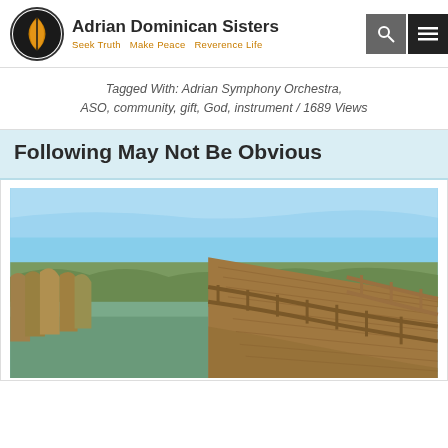Adrian Dominican Sisters — Seek Truth  Make Peace  Reverence Life
Tagged With: Adrian Symphony Orchestra, ASO, community, gift, God, instrument / 1689 Views
Following May Not Be Obvious
[Figure (photo): A wooden boardwalk with railings curves along a marshy waterway lined with tall reeds, under a clear blue sky.]